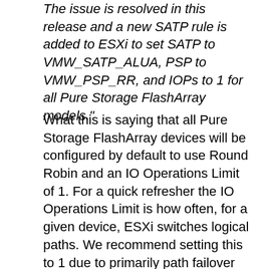The issue is resolved in this release and a new SATP rule is added to ESXi to set SATP to VMW_SATP_ALUA, PSP to VMW_PSP_RR, and IOPs to 1 for all Pure Storage FlashArray models."
What this is saying that all Pure Storage FlashArray devices will be configured by default to use Round Robin and an IO Operations Limit of 1. For a quick refresher the IO Operations Limit is how often, for a given device, ESXi switches logical paths. We recommend setting this to 1 due to primarily path failover time is improved by quite a bit when this is set low.
So once you are on these release you no longer need to worry about this any more. Yay!
So what does the upgrade look like, and what if you have an existing rule? Well let's first look at it for a fresh upgrade with no manually created rule.